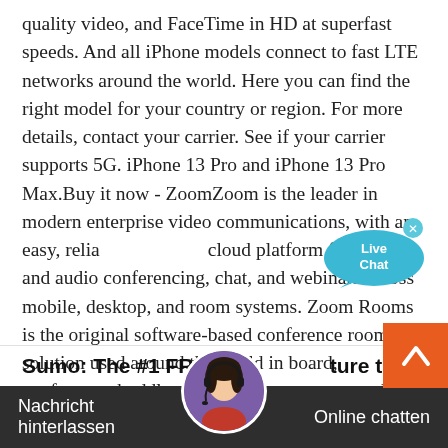quality video, and FaceTime in HD at superfast speeds. And all iPhone models connect to fast LTE networks around the world. Here you can find the right model for your country or region. For more details, contact your carrier. See if your carrier supports 5G. iPhone 13 Pro and iPhone 13 Pro Max.Buy it now - ZoomZoom is the leader in modern enterprise video communications, with an easy, reliable cloud platform for video and audio conferencing, chat, and webinars across mobile, desktop, and room systems. Zoom Rooms is the original software-based conference room solution used around the world in board, conference, huddle, and training rooms, as well as executive offices and …
[Figure (other): Live Chat speech bubble widget in cyan/blue color with white text 'Live Chat' and an X close button]
Sumo: The #1 FREE email capture tool
Try Sumo for free today. Grow sales and marketing strategies set up on your website in less than a
[Figure (photo): Customer support avatar: woman with headset, circular photo]
[Figure (other): Scroll to top orange button with upward chevron arrow]
Nachricht hinterlassen
Online chatten